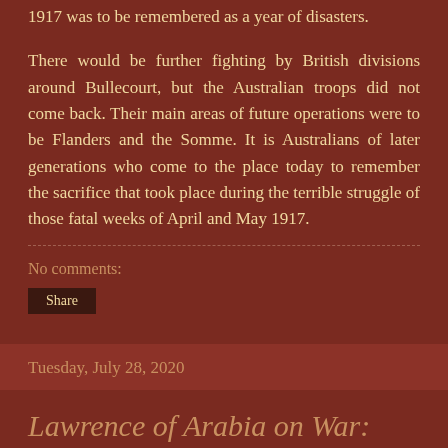1917 was to be remembered as a year of disasters.
There would be further fighting by British divisions around Bullecourt, but the Australian troops did not come back. Their main areas of future operations were to be Flanders and the Somme. It is Australians of later generations who come to the place today to remember the sacrifice that took place during the terrible struggle of those fatal weeks of April and May 1917.
No comments:
Share
Tuesday, July 28, 2020
Lawrence of Arabia on War: The Campaign in the Desert 1916-18,